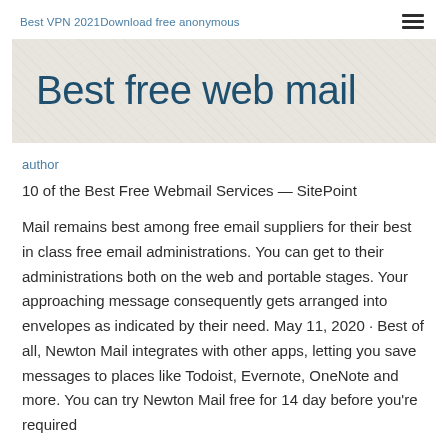Best VPN 2021Download free anonymous
Best free web mail
author
10 of the Best Free Webmail Services — SitePoint
Mail remains best among free email suppliers for their best in class free email administrations. You can get to their administrations both on the web and portable stages. Your approaching message consequently gets arranged into envelopes as indicated by their need. May 11, 2020 · Best of all, Newton Mail integrates with other apps, letting you save messages to places like Todoist, Evernote, OneNote and more. You can try Newton Mail free for 14 day before you're required